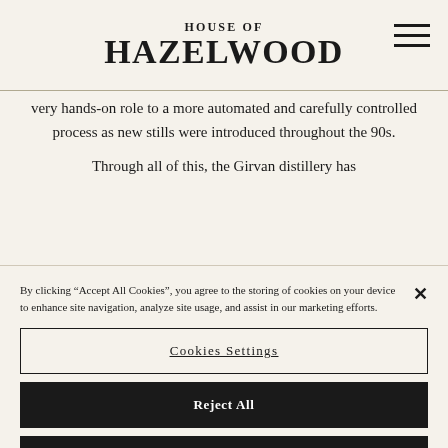HOUSE OF HAZELWOOD
very hands-on role to a more automated and carefully controlled process as new stills were introduced throughout the 90s.

Through all of this, the Girvan distillery has
By clicking “Accept All Cookies”, you agree to the storing of cookies on your device to enhance site navigation, analyze site usage, and assist in our marketing efforts.
Cookies Settings
Reject All